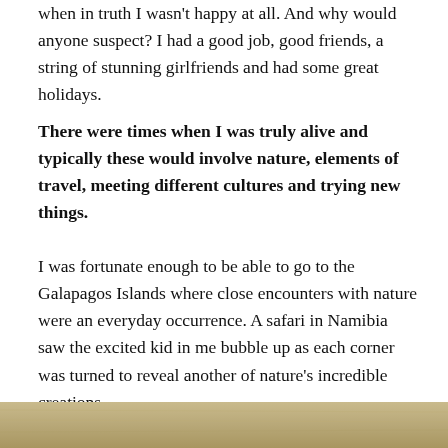when in truth I wasn't happy at all. And why would anyone suspect? I had a good job, good friends, a string of stunning girlfriends and had some great holidays.
There were times when I was truly alive and typically these would involve nature, elements of travel, meeting different cultures and trying new things.
I was fortunate enough to be able to go to the Galapagos Islands where close encounters with nature were an everyday occurrence. A safari in Namibia saw the excited kid in me bubble up as each corner was turned to reveal another of nature's incredible creations.
[Figure (photo): Bottom strip showing a sandy/earthy textured surface, tan and golden brown colors]